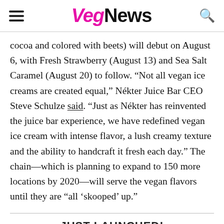VegNews
cocoa and colored with beets) will debut on August 6, with Fresh Strawberry (August 13) and Sea Salt Caramel (August 20) to follow. “Not all vegan ice creams are created equal,” Nékter Juice Bar CEO Steve Schulze said. “Just as Nékter has reinvented the juice bar experience, we have redefined vegan ice cream with intense flavor, a lush creamy texture and the ability to handcraft it fresh each day.” The chain—which is planning to expand to 150 more locations by 2020—will serve the vegan flavors until they are “all ‘skooped’ up.”
JUST LAUNCHED!